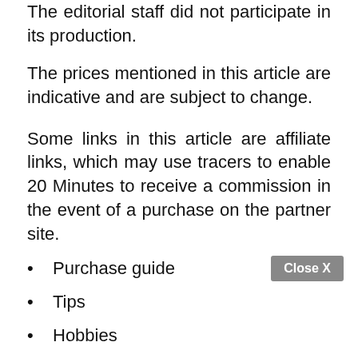The editorial staff did not participate in its production.
The prices mentioned in this article are indicative and are subject to change.
Some links in this article are affiliate links, which may use tracers to enable 20 Minutes to receive a commission in the event of a purchase on the partner site.
Purchase guide
Tips
Hobbies
Toys Buying Guide